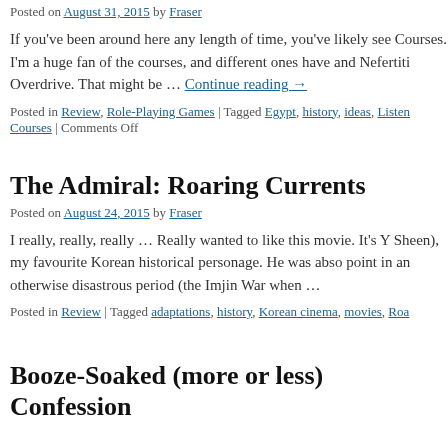Posted on August 31, 2015 by Fraser
If you've been around here any length of time, you've likely see Courses. I'm a huge fan of the courses, and different ones have and Nefertiti Overdrive. That might be … Continue reading →
Posted in Review, Role-Playing Games | Tagged Egypt, history, ideas, Listen Courses | Comments Off
The Admiral: Roaring Currents
Posted on August 24, 2015 by Fraser
I really, really, really … Really wanted to like this movie. It's Y Sheen), my favourite Korean historical personage. He was abso point in an otherwise disastrous period (the Imjin War when …
Posted in Review | Tagged adaptations, history, Korean cinema, movies, Roa
Booze-Soaked (more or less) Confessions